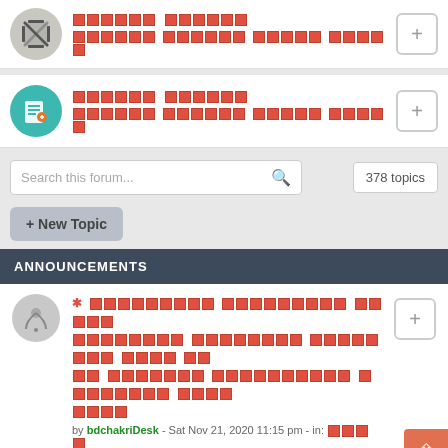[Figure (screenshot): Forum category card with crop icon (gray circle) and red block placeholder title and subtitle text, with plus button]
[Figure (screenshot): Forum category card with edit/checklist icon (teal circle) and red block placeholder title and subtitle text, with plus button]
Search this forum...   378 topics
+ New Topic
ANNOUNCEMENTS
* [red block placeholder title multi-line] by bdchakriDesk - Sat Nov 21, 2020 11:15 pm - in: [red blocks]